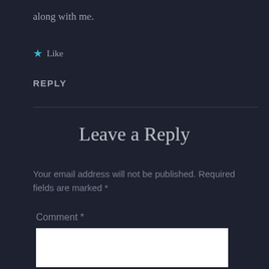along with me.
★ Like
REPLY
Leave a Reply
Your email address will not be published. Required fields are marked *
Comment *